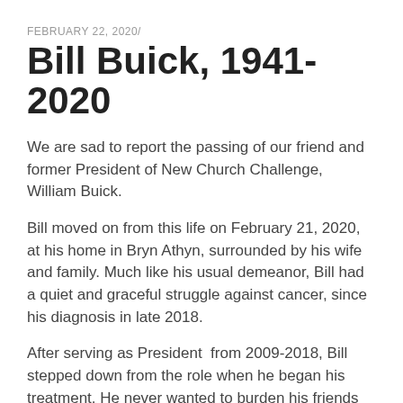FEBRUARY 22, 2020/
Bill Buick, 1941-2020
We are sad to report the passing of our friend and former President of New Church Challenge, William Buick.
Bill moved on from this life on February 21, 2020, at his home in Bryn Athyn, surrounded by his wife and family. Much like his usual demeanor, Bill had a quiet and graceful struggle against cancer, since his diagnosis in late 2018.
After serving as President  from 2009-2018, Bill stepped down from the role when he began his treatment. He never wanted to burden his friends and he continued to serve as an active supporter of New Church Challenge, despite his health.